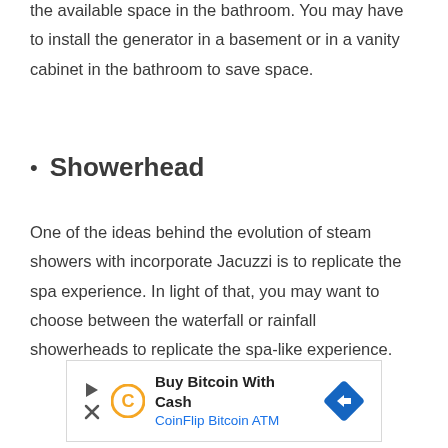The success of the installation process depends on the available space in the bathroom. You may have to install the generator in a basement or in a vanity cabinet in the bathroom to save space.
Showerhead
One of the ideas behind the evolution of steam showers with incorporate Jacuzzi is to replicate the spa experience. In light of that, you may want to choose between the waterfall or rainfall showerheads to replicate the spa-like experience.
[Figure (other): Advertisement banner for CoinFlip Bitcoin ATM with 'Buy Bitcoin With Cash' text, CoinFlip logo, play and X icons, and a blue diamond direction sign icon.]